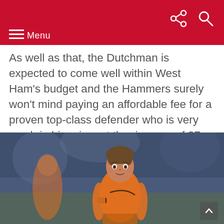Menu
As well as that, the Dutchman is expected to come well within West Ham’s budget and the Hammers surely won’t mind paying an affordable fee for a proven top-class defender who is very much in his prime at the ripe age of 27.
[Figure (photo): A young Dutch footballer wearing an orange Netherlands national team jersey with a Nike swoosh, looking focused during a match. Another player in orange is visible in the blurred background.]